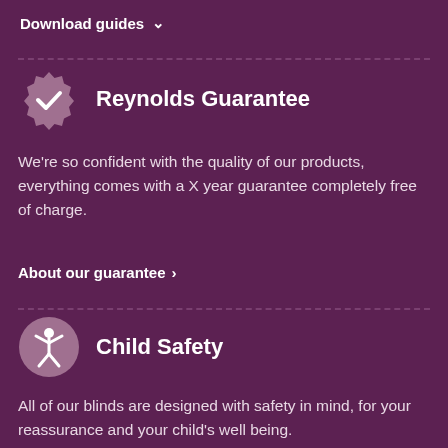Download guides
Reynolds Guarantee
We're so confident with the quality of our products, everything comes with a X year guarantee completely free of charge.
About our guarantee
Child Safety
All of our blinds are designed with safety in mind, for your reassurance and your child's well being.